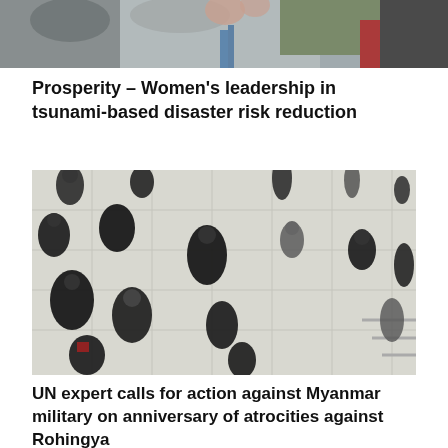[Figure (photo): Top portion of a photo showing people, partially cropped at the top of the page, with colorful clothing visible.]
Prosperity – Women's leadership in tsunami-based disaster risk reduction
[Figure (photo): Aerial/top-down view of multiple people walking on a tiled floor, motion blur effect, mostly dressed in dark clothing.]
UN expert calls for action against Myanmar military on anniversary of atrocities against Rohingya